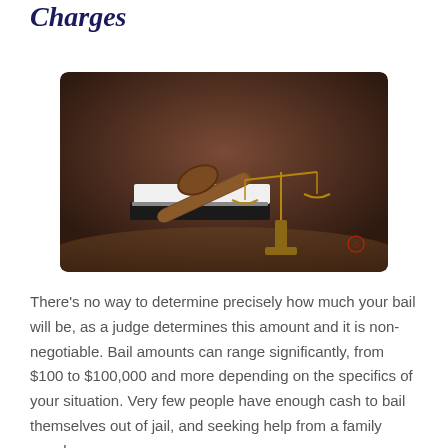Charges
[Figure (photo): A judge's wooden gavel resting on a stack of books with golden scales of justice in the background, on a dark brown background.]
There's no way to determine precisely how much your bail will be, as a judge determines this amount and it is non-negotiable. Bail amounts can range significantly, from $100 to $100,000 and more depending on the specifics of your situation. Very few people have enough cash to bail themselves out of jail, and seeking help from a family member